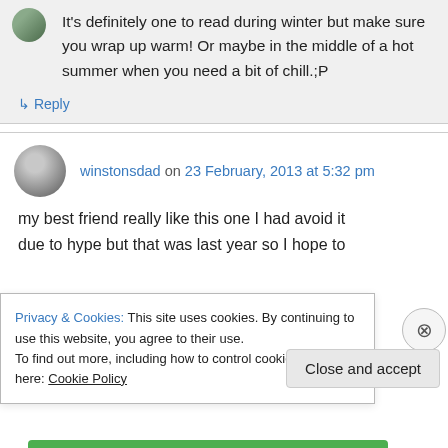It's definitely one to read during winter but make sure you wrap up warm! Or maybe in the middle of a hot summer when you need a bit of chill.;P
↳ Reply
winstonsdad on 23 February, 2013 at 5:32 pm
my best friend really like this one I had avoid it due to hype but that was last year so I hope to
Privacy & Cookies: This site uses cookies. By continuing to use this website, you agree to their use.
To find out more, including how to control cookies, see here: Cookie Policy
Close and accept